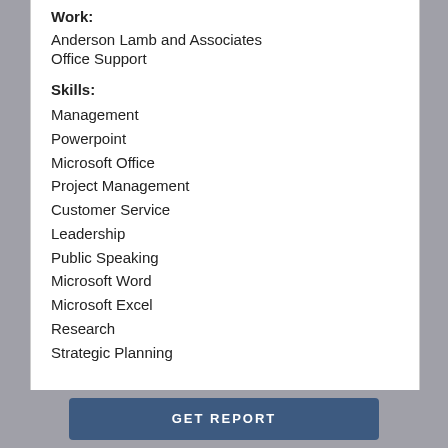Work:
Anderson Lamb and Associates
Office Support
Skills:
Management
Powerpoint
Microsoft Office
Project Management
Customer Service
Leadership
Public Speaking
Microsoft Word
Microsoft Excel
Research
Strategic Planning
GET REPORT